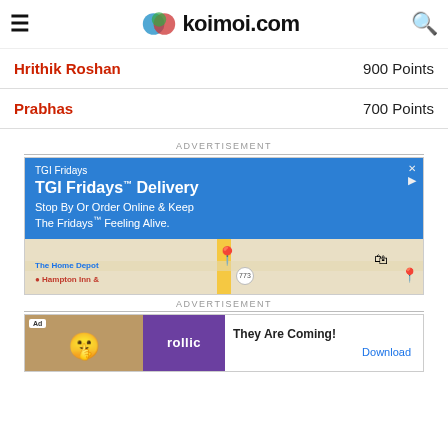koimoi.com
Hrithik Roshan — 900 Points
Prabhas — 700 Points
ADVERTISEMENT
[Figure (screenshot): TGI Fridays delivery ad with blue banner and map below]
ADVERTISEMENT
[Figure (screenshot): Rollic Games ad — They Are Coming! Download]